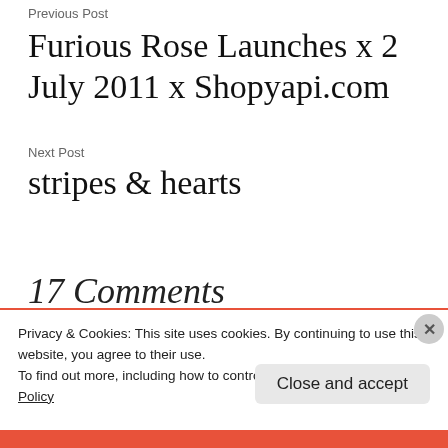Previous Post
Furious Rose Launches x 2 July 2011 x Shopyapi.com
Next Post
stripes & hearts
17 Comments
Privacy & Cookies: This site uses cookies. By continuing to use this website, you agree to their use.
To find out more, including how to control cookies, see here: Cookie Policy